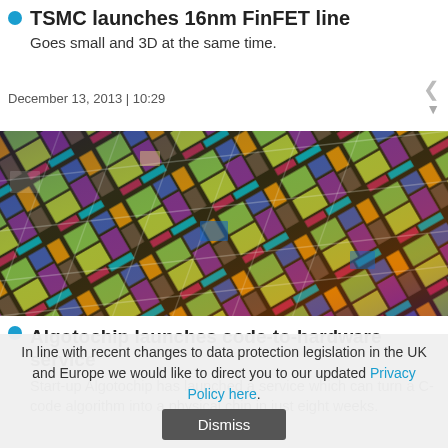TSMC launches 16nm FinFET line
Goes small and 3D at the same time.
December 13, 2013 | 10:29
[Figure (photo): Colorful close-up of semiconductor chip wafer showing multiple colored rectangular dies arranged in a grid pattern with iridescent colors including blue, green, yellow, orange, and purple]
Algotochip launches code-to-hardware service
Start-up Algotochip has launched a service which can turn a C-code algorithm into a physical chip in just eight weeks.
In line with recent changes to data protection legislation in the UK and Europe we would like to direct you to our updated Privacy Policy here.
Dismiss